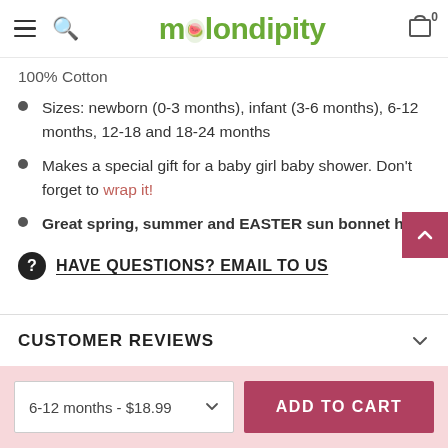melon dipity — navigation header with hamburger, search, logo, cart (0)
100% Cotton
Sizes: newborn (0-3 months), infant (3-6 months), 6-12 months, 12-18 and 18-24 months
Makes a special gift for a baby girl baby shower. Don't forget to wrap it!
Great spring, summer and EASTER sun bonnet hat!
HAVE QUESTIONS? EMAIL TO US
CUSTOMER REVIEWS
6-12 months - $18.99  ADD TO CART